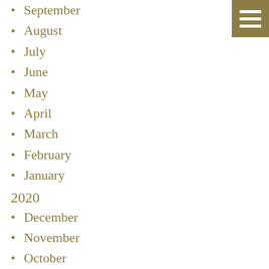September
August
July
June
May
April
March
February
January
2020
December
November
October
September
August
July
June